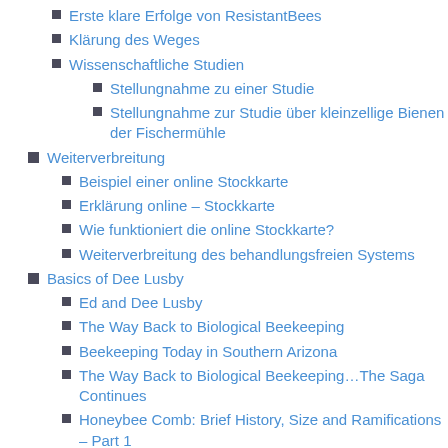Erste klare Erfolge von ResistantBees
Klärung des Weges
Wissenschaftliche Studien
Stellungnahme zu einer Studie
Stellungnahme zur Studie über kleinzellige Bienen der Fischermühle
Weiterverbreitung
Beispiel einer online Stockkarte
Erklärung online – Stockkarte
Wie funktioniert die online Stockkarte?
Weiterverbreitung des behandlungsfreien Systems
Basics of Dee Lusby
Ed and Dee Lusby
The Way Back to Biological Beekeeping
Beekeeping Today in Southern Arizona
The Way Back to Biological Beekeeping…The Saga Continues
Honeybee Comb: Brief History, Size and Ramifications – Part 1
Honeybee Comb: Size and